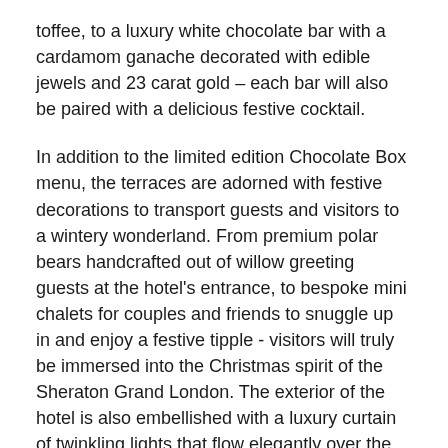toffee, to a luxury white chocolate bar with a cardamom ganache decorated with edible jewels and 23 carat gold – each bar will also be paired with a delicious festive cocktail.
In addition to the limited edition Chocolate Box menu, the terraces are adorned with festive decorations to transport guests and visitors to a wintery wonderland. From premium polar bears handcrafted out of willow greeting guests at the hotel's entrance, to bespoke mini chalets for couples and friends to snuggle up in and enjoy a festive tipple - visitors will truly be immersed into the Christmas spirit of the Sheraton Grand London. The exterior of the hotel is also embellished with a luxury curtain of twinkling lights that flow elegantly over the front of hotel.
The chocolate bars and cocktail pairings include: